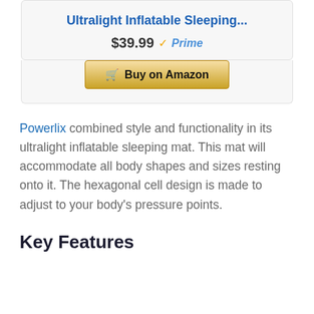Ultralight Inflatable Sleeping...
$39.99 Prime
[Figure (other): Buy on Amazon button with shopping cart icon]
Powerlix combined style and functionality in its ultralight inflatable sleeping mat. This mat will accommodate all body shapes and sizes resting onto it. The hexagonal cell design is made to adjust to your body’s pressure points.
Key Features